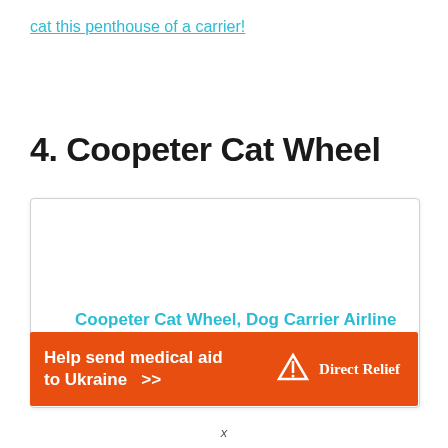cat this penthouse of a carrier!
4. Coopeter Cat Wheel
[Figure (other): Product card with white background showing Coopeter Cat Wheel product listing with cyan/teal colored product title text and partial ad banner overlay]
Coopeter Cat Wheel, Dog Carrier Airline Approved with Durable Mesh Panels, Pet Carrier with Telescopic Walking Handle,Easy to Fold,Grey
[Figure (infographic): Orange advertisement banner reading 'Help send medical aid to Ukraine >>' with Direct Relief logo on right side]
x